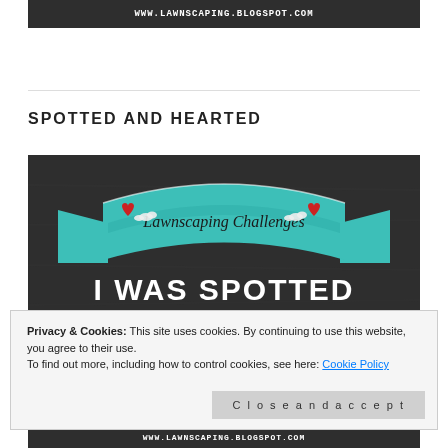[Figure (screenshot): Dark banner with white uppercase text: WWW.LAWNSCAPING.BLOGSPOT.COM]
SPOTTED AND HEARTED
[Figure (illustration): Lawnscaping Challenges badge: dark chalkboard background with a teal ribbon banner reading 'Lawnscaping Challenges' with red hearts, and white text below reading 'I WAS SPOTTED BY THE']
Privacy & Cookies: This site uses cookies. By continuing to use this website, you agree to their use.
To find out more, including how to control cookies, see here: Cookie Policy
[Figure (screenshot): Dark bottom banner with white uppercase text: www.LAWNSCAPING.BLOGSPOT.COM]